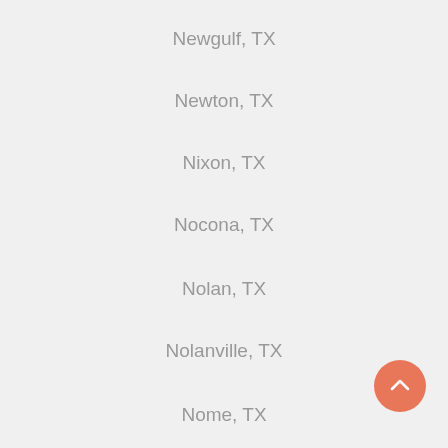Newgulf, TX
Newton, TX
Nixon, TX
Nocona, TX
Nolan, TX
Nolanville, TX
Nome, TX